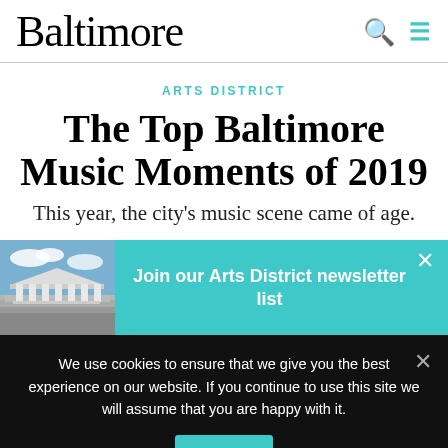Baltimore
ARTS DISTRICT
The Top Baltimore Music Moments of 2019
This year, the city's music scene came of age.
[Figure (infographic): Teal newsletter signup banner with a thumbnail photo of a classical building with columns and the text: Join our Arts District newsletter list]
We use cookies to ensure that we give you the best experience on our website. If you continue to use this site we will assume that you are happy with it.